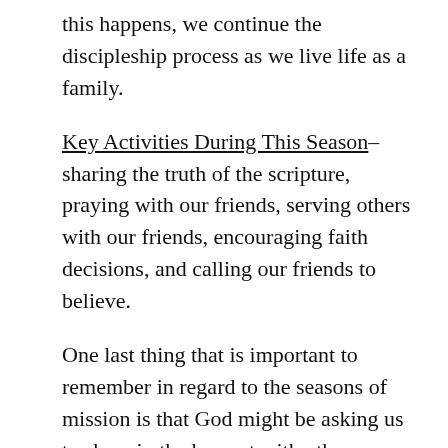this happens, we continue the discipleship process as we live life as a family.
Key Activities During This Season– sharing the truth of the scripture, praying with our friends, serving others with our friends, encouraging faith decisions, and calling our friends to believe.
One last thing that is important to remember in regard to the seasons of mission is that God might be asking us to share in the harvest with other believers somewhere else.  This happened to me once with a neighbor. I spent two years doing the hard work of plowing and sowing. I prayed for my neighbor, got to know him and his family, shared with him, my and how come in